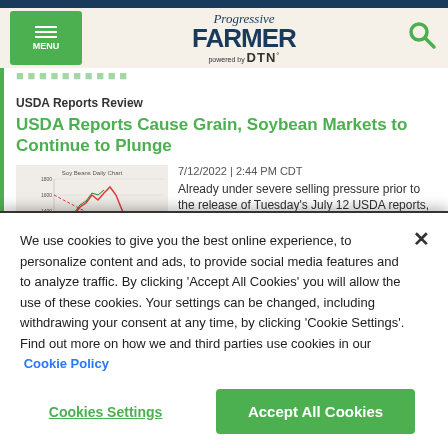Progressive FARMER powered by DTN
USDA Reports Review
USDA Reports Cause Grain, Soybean Markets to Continue to Plunge
[Figure (other): Soy Beans Daily Chart showing candlestick price data with trend lines]
7/12/2022 | 2:44 PM CDT
Already under severe selling pressure prior to the release of Tuesday’s July 12 USDA reports, all
We use cookies to give you the best online experience, to personalize content and ads, to provide social media features and to analyze traffic. By clicking ‘Accept All Cookies’ you will allow the use of these cookies. Your settings can be changed, including withdrawing your consent at any time, by clicking ‘Cookie Settings’. Find out more on how we and third parties use cookies in our  Cookie Policy
Cookies Settings
Accept All Cookies